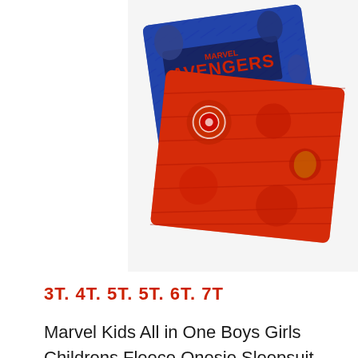[Figure (photo): Marvel Avengers children's fleece onesie sleepsuit pyjama product photos showing the garment folded - one with blue Marvel Avengers logo design and one with red patterned fabric featuring superhero characters including Captain America, Iron Man, and Thor.]
3T. 4T. 5T. 5T. 6T. 7T
Marvel Kids All in One Boys Girls Childrens Fleece Onesie Sleepsuit Pyjamas,Age 10,Red,: Clothing,Buy Marvel Kids All in One Boys Girls Childrens Fleece Onesie Sleepsuit Pyjamas,Age 10,Red,: Shop top fashion brands One-Piece Pajamas at ✓ FREE DELIVERY and Returns possible on eligible purchases,Zip up front,Sublimated print to the front,Coral fleece,Ribbed cuffs and ankles,Department: Boys,ASIN: B083X5WT42,Date First Available: January